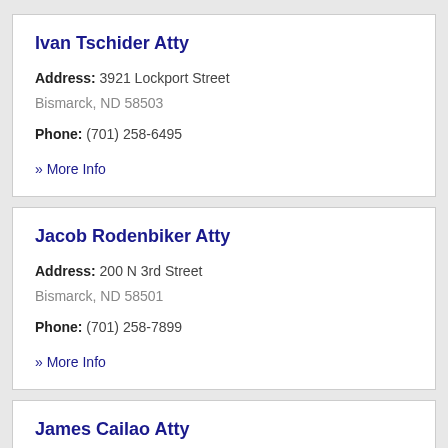Ivan Tschider Atty
Address: 3921 Lockport Street
Bismarck, ND 58503
Phone: (701) 258-6495
» More Info
Jacob Rodenbiker Atty
Address: 200 N 3rd Street
Bismarck, ND 58501
Phone: (701) 258-7899
» More Info
James Cailao Atty